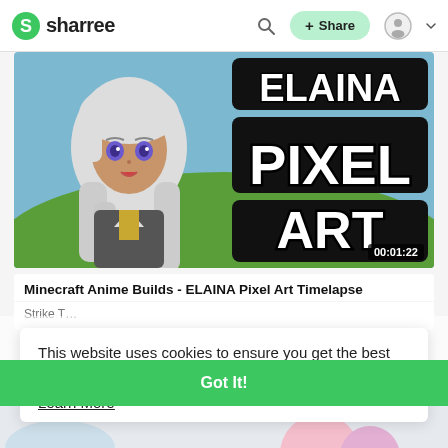sharree  🔍  + Share  👤
[Figure (screenshot): Video thumbnail showing anime character Elaina with white hair and purple eyes next to large bold text reading 'ELAINA PIXEL ART' on a Minecraft green landscape background. Duration badge shows 00:01:22.]
Minecraft Anime Builds - ELAINA Pixel Art Timelapse
Strike T...
This website uses cookies to ensure you get the best experience on our website.
Learn More
Got It!